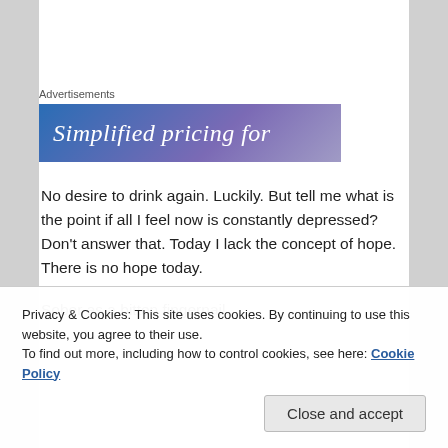Advertisements
[Figure (illustration): Advertisement banner with gradient blue-purple background and white italic text reading 'Simplified pricing for']
No desire to drink again. Luckily. But tell me what is the point if all I feel now is constantly depressed? Don't answer that. Today I lack the concept of hope. There is no hope today.
Sober as a bitten fingernail.
Privacy & Cookies: This site uses cookies. By continuing to use this website, you agree to their use.
To find out more, including how to control cookies, see here: Cookie Policy
Close and accept